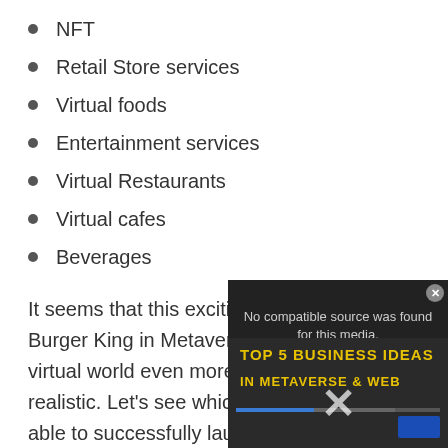NFT
Retail Store services
Virtual foods
Entertainment services
Virtual Restaurants
Virtual cafes
Beverages
It seems that this exciting announcement of Burger King in Metaverse will make the virtual world even more interesting and realistic. Let’s see which food brands will be able to successfully launch their virtual foods items in the virtual world.
[Figure (screenshot): Video player overlay showing 'No compatible source was found for this media.' message over a dark background with 'TOP 5 BUSINESS IDEAS IN METAVERSE & WEB' text in yellow, a progress bar, close button, and a large X overlay.]